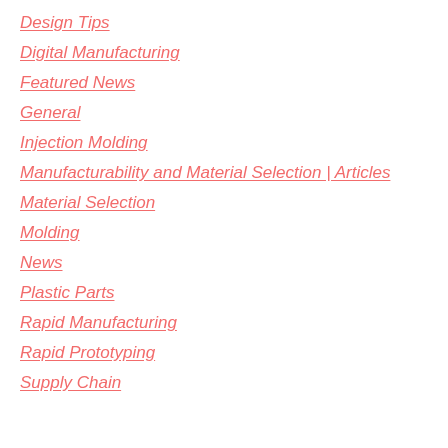Design Tips
Digital Manufacturing
Featured News
General
Injection Molding
Manufacturability and Material Selection | Articles
Material Selection
Molding
News
Plastic Parts
Rapid Manufacturing
Rapid Prototyping
Supply Chain